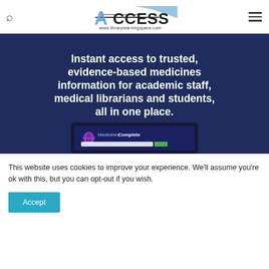ACCESS www.librarylearningspace.com
[Figure (screenshot): Dark navy blue banner advertising MedicinesComplete: 'Instant access to trusted, evidence-based medicines information for academic staff, medical librarians and students, all in one place.' with a tablet/laptop device showing MedicinesComplete interface at the bottom.]
This website uses cookies to improve your experience. We'll assume you're ok with this, but you can opt-out if you wish.
Accept